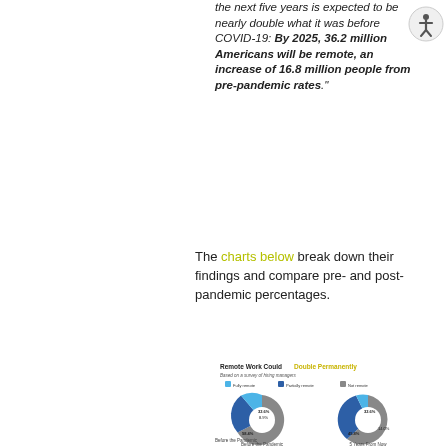the next five years is expected to be nearly double what it was before COVID-19: By 2025, 36.2 million Americans will be remote, an increase of 16.8 million people from pre-pandemic rates."
The charts below break down their findings and compare pre- and post-pandemic percentages.
[Figure (donut-chart): Two donut charts titled 'Remote Work Could Double Permanently' based on a survey of hiring managers, showing percentages for fully remote, partially remote, and not remote. Left chart: Before the Pandemic. Right chart: 5 Years From Now. Categories include fully remote (~32.6%), partially remote (~8.9%), not remote (~58.4%) for before pandemic; and fully remote (~32.6%), partially remote (~14.0%), not remote (~45.8%) for 5 years from now.]